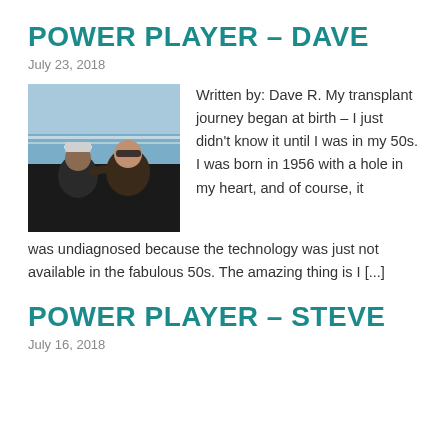POWER PLAYER – DAVE
July 23, 2018
[Figure (photo): Two people sitting together outdoors near a waterfront, one wearing a baseball cap and dark hoodie, the other wearing sunglasses]
Written by: Dave R. My transplant journey began at birth – I just didn't know it until I was in my 50s. I was born in 1956 with a hole in my heart, and of course, it was undiagnosed because the technology was just not available in the fabulous 50s. The amazing thing is I [...]
POWER PLAYER – STEVE
July 16, 2018